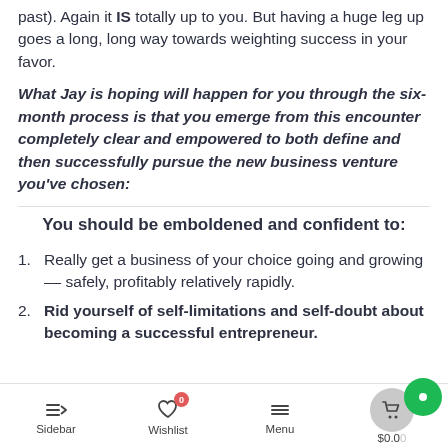past). Again it IS totally up to you. But having a huge leg up goes a long, long way towards weighting success in your favor.
What Jay is hoping will happen for you through the six-month process is that you emerge from this encounter completely clear and empowered to both define and then successfully pursue the new business venture you've chosen:
You should be emboldened and confident to:
Really get a business of your choice going and growing -- safely, profitably relatively rapidly.
Rid yourself of self-limitations and self-doubt about becoming a successful entrepreneur.
Sidebar | Wishlist 0 | Menu | $0.00